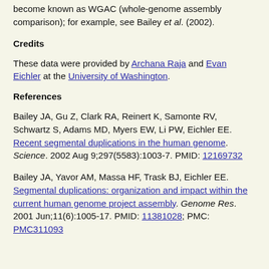become known as WGAC (whole-genome assembly comparison); for example, see Bailey et al. (2002).
Credits
These data were provided by Archana Raja and Evan Eichler at the University of Washington.
References
Bailey JA, Gu Z, Clark RA, Reinert K, Samonte RV, Schwartz S, Adams MD, Myers EW, Li PW, Eichler EE. Recent segmental duplications in the human genome. Science. 2002 Aug 9;297(5583):1003-7. PMID: 12169732
Bailey JA, Yavor AM, Massa HF, Trask BJ, Eichler EE. Segmental duplications: organization and impact within the current human genome project assembly. Genome Res. 2001 Jun;11(6):1005-17. PMID: 11381028; PMC: PMC311093